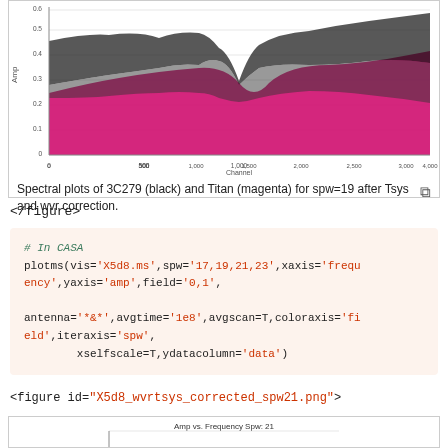[Figure (continuous-plot): Spectral plot showing amplitude vs channel for 3C279 (black) and Titan (magenta) for spw=19 after Tsys and wvr correction. Dense scatter plot with black points on top of magenta region, with a dip visible around channel 2000.]
Spectral plots of 3C279 (black) and Titan (magenta) for spw=19 after Tsys and wvr correction.
</figure>
# In CASA
plotms(vis='X5d8.ms',spw='17,19,21,23',xaxis='frequency',yaxis='amp',field='0,1',
antenna='*&*',avgtime='1e8',avgscan=T,coloraxis='field',iteraxis='spw',
        xselfscale=T,ydatacolumn='data')
<figure id="X5d8_wvrtsys_corrected_spw21.png">
[Figure (continuous-plot): Amp vs. Frequency Spw: 21 - partial view of spectral plot at bottom of page]